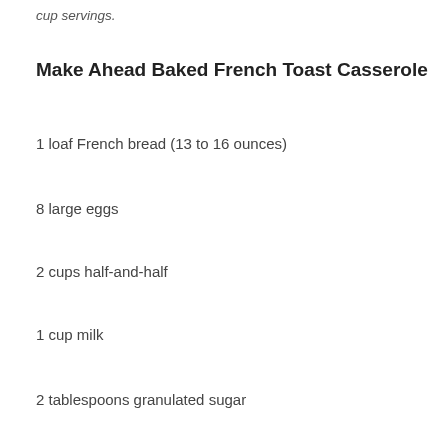cup servings.
Make Ahead Baked French Toast Casserole
1 loaf French bread (13 to 16 ounces)
8 large eggs
2 cups half-and-half
1 cup milk
2 tablespoons granulated sugar
1 teaspoon vanilla extract